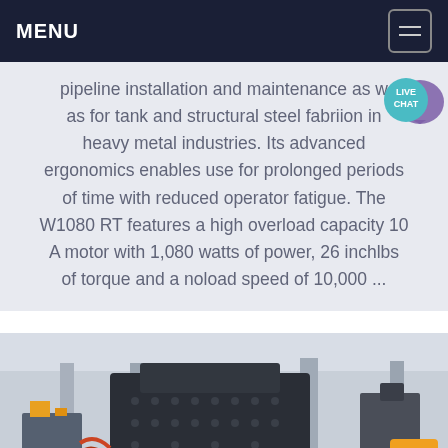MENU
pipeline installation and maintenance as w as for tank and structural steel fabriion in heavy metal industries. Its advanced ergonomics enables use for prolonged periods of time with reduced operator fatigue. The W1080 RT features a high overload capacity 10 A motor with 1,080 watts of power, 26 inchlbs of torque and a noload speed of 10,000 ...
[Figure (photo): Industrial machinery — a large dark metal crusher or heavy equipment piece in a factory/industrial setting with columns and other machinery visible in the background.]